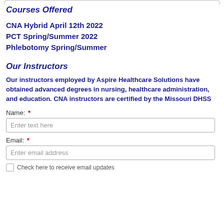Courses Offered
CNA Hybrid April 12th 2022
PCT Spring/Summer 2022
Phlebotomy Spring/Summer
Our Instructors
Our instructors employed by Aspire Healthcare Solutions have obtained advanced degrees in nursing, healthcare administration, and education. CNA instructors are certified by the Missouri DHSS
Name: *
Enter text here
Email: *
Enter email address
Check here to receive email updates